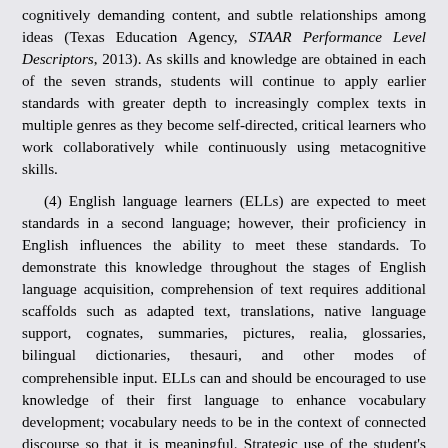cognitively demanding content, and subtle relationships among ideas (Texas Education Agency, STAAR Performance Level Descriptors, 2013). As skills and knowledge are obtained in each of the seven strands, students will continue to apply earlier standards with greater depth to increasingly complex texts in multiple genres as they become self-directed, critical learners who work collaboratively while continuously using metacognitive skills.
(4) English language learners (ELLs) are expected to meet standards in a second language; however, their proficiency in English influences the ability to meet these standards. To demonstrate this knowledge throughout the stages of English language acquisition, comprehension of text requires additional scaffolds such as adapted text, translations, native language support, cognates, summaries, pictures, realia, glossaries, bilingual dictionaries, thesauri, and other modes of comprehensible input. ELLs can and should be encouraged to use knowledge of their first language to enhance vocabulary development; vocabulary needs to be in the context of connected discourse so that it is meaningful. Strategic use of the student's first language is important to ensure linguistic, affective, cognitive, and academic development in English.
(5) Current research stresses the importance of effectively